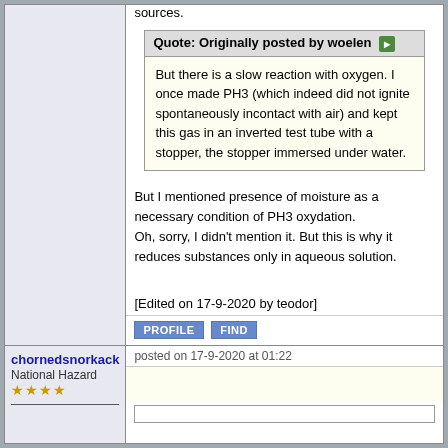sources.
Quote: Originally posted by woelen
But there is a slow reaction with oxygen. I once made PH3 (which indeed did not ignite spontaneously incontact with air) and kept this gas in an inverted test tube with a stopper, the stopper immersed under water.
But I mentioned presence of moisture as a necessary condition of PH3 oxydation.
Oh, sorry, I didn't mention it. But this is why it reduces substances only in aqueous solution.
[Edited on 17-9-2020 by teodor]
chornedsnorkack
National Hazard
★★★★
posted on 17-9-2020 at 01:22